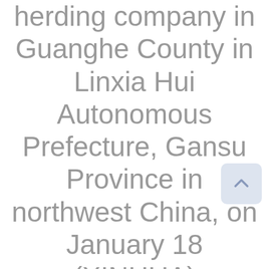herding company in Guanghe County in Linxia Hui Autonomous Prefecture, Gansu Province in northwest China, on January 18 (XINHUA)
In Guanghe, a county in